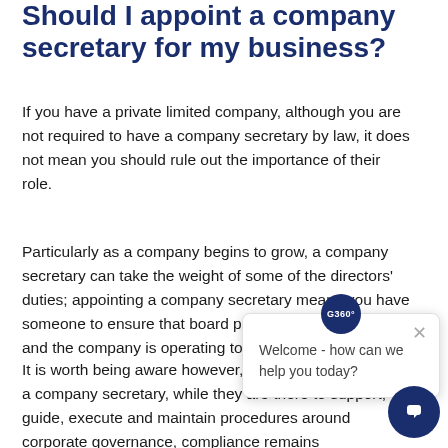Should I appoint a company secretary for my business?
If you have a private limited company, although you are not required to have a company secretary by law, it does not mean you should rule out the importance of their role.
Particularly as a company begins to grow, a company secretary can take the weight of some of the directors' duties; appointing a company secretary means you have someone to ensure that board procedures are followed and the company is operating to the best of its ability.
It is worth being aware however, that should you appoint a company secretary, while they are there to support, guide, execute and maintain procedures around corporate governance, compliance remains